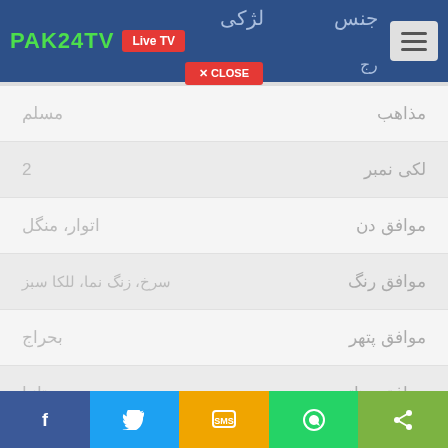PAK24TV | Live TV | جنس | لژکی
[Figure (screenshot): Close button popup overlay]
مذاهب — مسلم
لکی نمبر — 2
موافق دن — اتوار، منگل
موافق رنگ — سرخ، زنگ نما، للکا سبز
موافق پتھر — بحراج
موافق دھاتیں — تانبا
f | Twitter | SMS | WhatsApp | Share